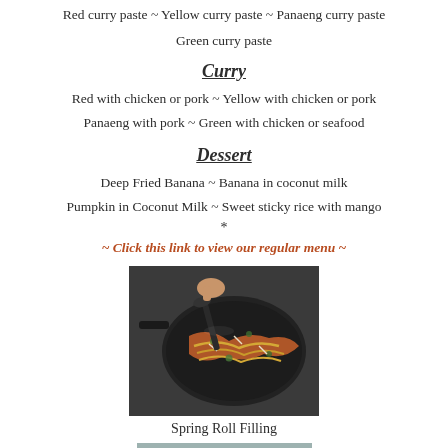Red curry paste ~ Yellow curry paste ~ Panaeng curry paste
Green curry paste
Curry
Red with chicken or pork ~ Yellow with chicken or pork
Panaeng with pork ~ Green with chicken or seafood
Dessert
Deep Fried Banana ~ Banana in coconut milk
Pumpkin in Coconut Milk ~ Sweet sticky rice with mango
*
~ Click this link to view our regular menu ~
[Figure (photo): A pan with stir-fried vegetables including carrots and noodles being cooked]
Spring Roll Filling
[Figure (photo): Partial view of another food dish at the bottom]